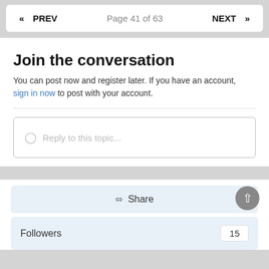« PREV   Page 41 of 63   NEXT »
Join the conversation
You can post now and register later. If you have an account, sign in now to post with your account.
Reply to this topic...
Share
Followers   15